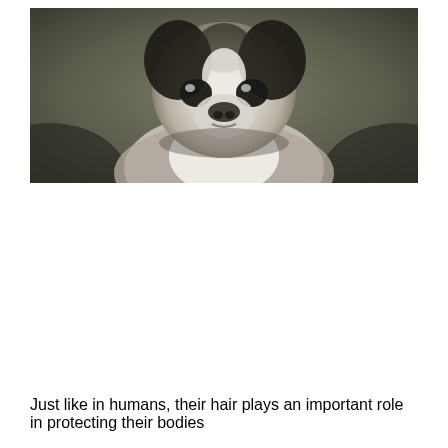[Figure (photo): A Boston Terrier or French Bulldog photographed from the front/above, showing its black and white face with large eyes, set against a dark olive/grey background. The dog appears to be looking slightly upward.]
Just like in humans, their hair plays an important role in protecting their bodies